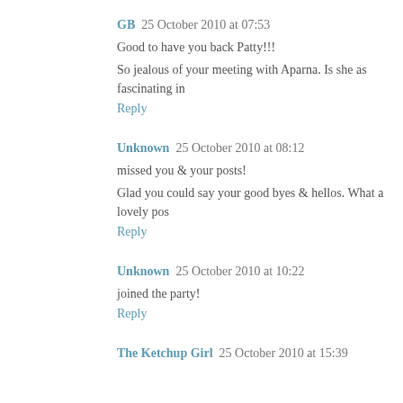GB  25 October 2010 at 07:53
Good to have you back Patty!!!
So jealous of your meeting with Aparna. Is she as fascinating in
Reply
Unknown  25 October 2010 at 08:12
missed you & your posts!
Glad you could say your good byes & hellos. What a lovely pos
Reply
Unknown  25 October 2010 at 10:22
joined the party!
Reply
The Ketchup Girl  25 October 2010 at 15:39